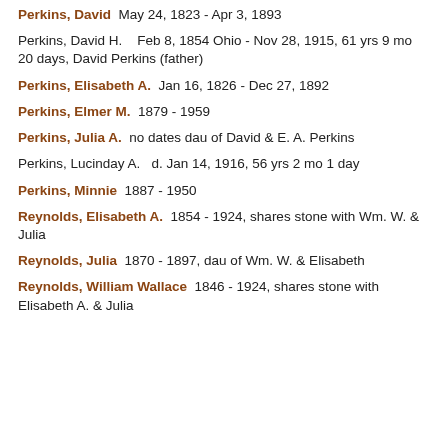Perkins, David  May 24, 1823 - Apr 3, 1893
Perkins, David H.   Feb 8, 1854 Ohio - Nov 28, 1915, 61 yrs 9 mo 20 days, David Perkins (father)
Perkins, Elisabeth A.   Jan 16, 1826 - Dec 27, 1892
Perkins, Elmer M.   1879 - 1959
Perkins, Julia A.   no dates dau of David & E. A. Perkins
Perkins, Lucinday A.   d. Jan 14, 1916, 56 yrs 2 mo 1 day
Perkins, Minnie   1887 - 1950
Reynolds, Elisabeth A.   1854 - 1924, shares stone with Wm. W. & Julia
Reynolds, Julia   1870 - 1897, dau of Wm. W. & Elisabeth
Reynolds, William Wallace   1846 - 1924, shares stone with Elisabeth A. & Julia